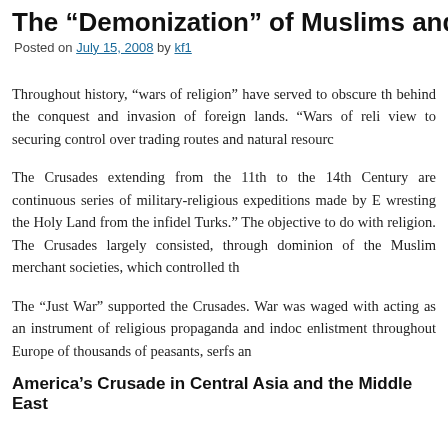The “Demonization” of Muslims and the R
Posted on July 15, 2008 by kf1
Throughout history, “wars of religion” have served to obscure th behind the conquest and invasion of foreign lands. “Wars of reli view to securing control over trading routes and natural resourc
The Crusades extending from the 11th to the 14th Century are continuous series of military-religious expeditions made by E wresting the Holy Land from the infidel Turks.” The objective to do with religion. The Crusades largely consisted, through dominion of the Muslim merchant societies, which controlled th
The “Just War” supported the Crusades. War was waged with acting as an instrument of religious propaganda and indoc enlistment throughout Europe of thousands of peasants, serfs an
America’s Crusade in Central Asia and the Middle East